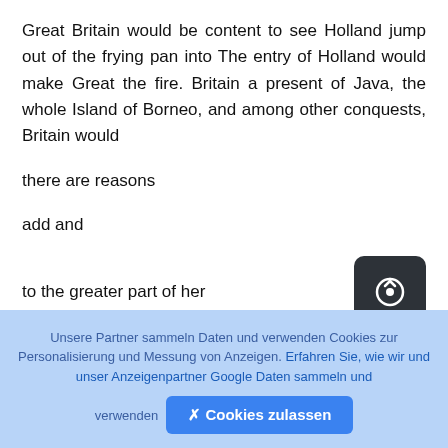Great Britain would be content to see Holland jump out of the frying pan into The entry of Holland would make Great the fire. Britain a present of Java, the whole Island of Borneo, and among other conquests, Britain would
there are reasons
add and
to the greater part of her
African possessions,
Unsere Partner sammeln Daten und verwenden Cookies zur Personalisierung und Messung von Anzeigen. Erfahren Sie, wie wir und unser Anzeigenpartner Google Daten sammeln und verwenden  ✕ Cookies zulassen